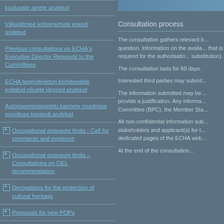kuuluvate ainete arutelud
Väljajätmise kriteeriumide erandi arutelud
Previous consultations on ECHA's Executive Director Requests to the Committees
ECHA tegevdirektori komiteedele esitatud nõuete järgsed arutelud
Autoriseerimisloetelu kannete muutmise soovituse kavandi arutelud
Occupational exposure limits - Call for comments and evidence
Occupational exposure limits – Consultations on OEL recommendation
Derogations for the protection of cultural heritage
Proposals for new POPs
Consultation process
The consultation gathers relevant b... question. Information on the availa... that is required for the authorisatio... substitution).
The consultation lasts for 60 days.
Interested third parties may submit...
The information submitted may be ... provide a justification. Any informa... Committee (BPC), the Member Sta...
All non-confidential information sub... stakeholders and applicant(s) for t... dedicated pages of the ECHA web...
At the end of the consultation...